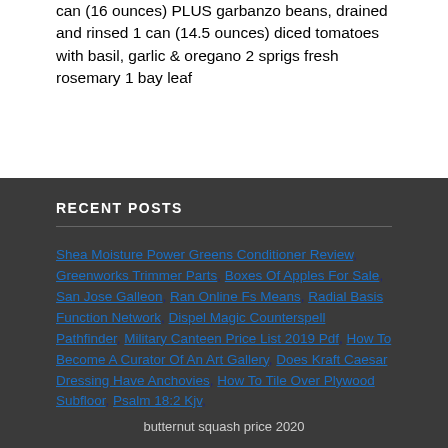can (16 ounces) PLUS garbanzo beans, drained and rinsed 1 can (14.5 ounces) diced tomatoes with basil, garlic & oregano 2 sprigs fresh rosemary 1 bay leaf
RECENT POSTS
Shea Moisture Power Greens Conditioner Review, Greenworks Trimmer Parts, Boxes Of Apples For Sale, San Jose Galleon, Ran Online Fs Means, Radial Basis Function Network, Dispel Magic Counterspell Pathfinder, Military Canteen Price List 2019 Pdf, How To Become A Curator Of An Art Gallery, Does Kraft Caesar Dressing Have Anchovies, How To Tile Over Plywood Subfloor, Psalm 18:2 Kjv,
butternut squash price 2020